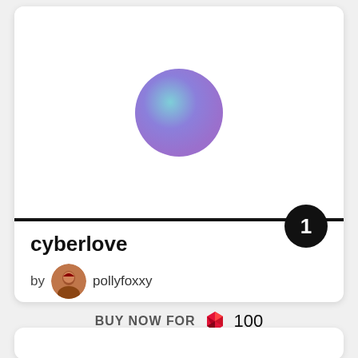[Figure (illustration): NFT card showing a gradient purple-teal circle on white background with a black rank badge showing '1' on the divider line]
cyberlove
by pollyfoxxy
BUY NOW FOR 100